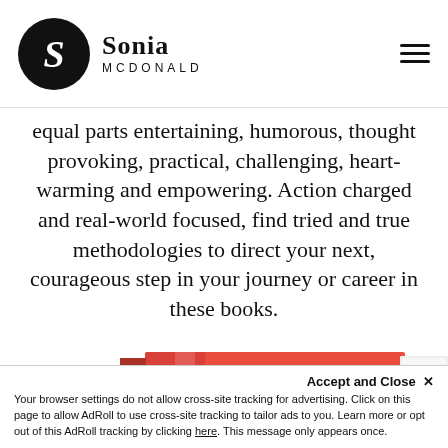Sonia McDonald
equal parts entertaining, humorous, thought provoking, practical, challenging, heart-warming and empowering. Action charged and real-world focused, find tried and true methodologies to direct your next, courageous step in your journey or career in these books.
[Figure (photo): A red book with 'JUST' printed in large black letters on the cover, shown as a 3D perspective with the spine and back cover visible.]
Accept and Close ✕
Your browser settings do not allow cross-site tracking for advertising. Click on this page to allow AdRoll to use cross-site tracking to tailor ads to you. Learn more or opt out of this AdRoll tracking by clicking here. This message only appears once.